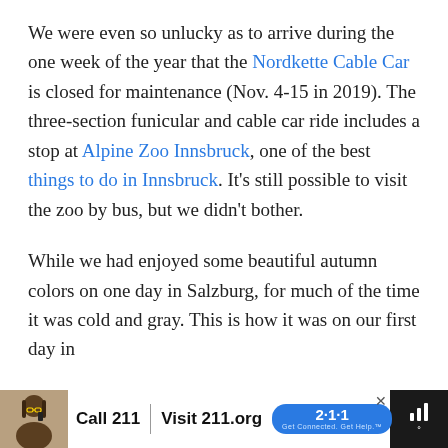We were even so unlucky as to arrive during the one week of the year that the Nordkette Cable Car is closed for maintenance (Nov. 4-15 in 2019). The three-section funicular and cable car ride includes a stop at Alpine Zoo Innsbruck, one of the best things to do in Innsbruck. It's still possible to visit the zoo by bus, but we didn't bother.
While we had enjoyed some beautiful autumn colors on one day in Salzburg, for much of the time it was cold and gray. This is how it was on our first day in
[Figure (infographic): Advertisement banner: dark background with white ad content area. Shows a woman on a phone on the left, text 'Call 211 | Visit 211.org' with a blue '2·1·1' badge. An X close button in top right of ad area. Dark right section with signal/wifi icon in white.]